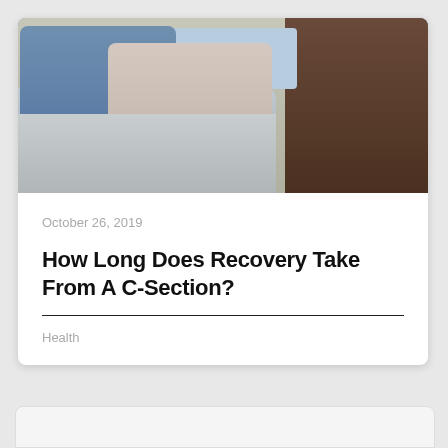[Figure (photo): Hospital scene showing a man in blue surgical gown sitting with a woman patient in a hospital bed, holding a newborn baby. The room has blue/grey tones with a dark curtain visible on the right.]
October 26, 2019
How Long Does Recovery Take From A C-Section?
Health